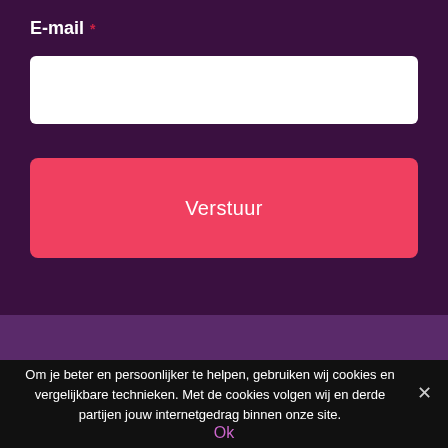E-mail *
[Figure (screenshot): White input field for email entry]
[Figure (screenshot): Pink/red button labeled Verstuur]
Om je beter en persoonlijker te helpen, gebruiken wij cookies en vergelijkbare technieken. Met de cookies volgen wij en derde partijen jouw internetgedrag binnen onze site.
Ok